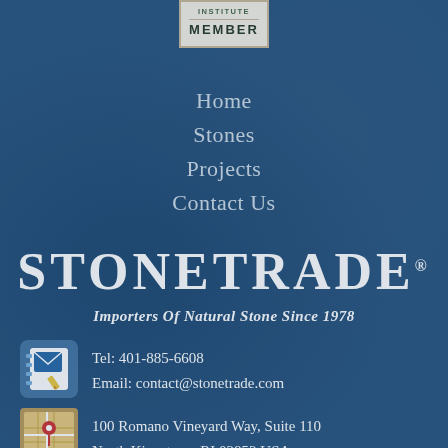[Figure (logo): Institute Member badge/seal with text INSTITUTE MEMBER on cream/beige background]
Home
Stones
Projects
Contact Us
STONETRADE®
Importers Of Natural Stone Since 1978
[Figure (illustration): Contact/address book icon with envelope and pencil]
Tel: 401-885-6608
Email: contact@stonetrade.com
[Figure (illustration): Map/location icon showing a street map]
100 Romano Vineyard Way, Suite 110
North Kingstown RI 02852 USA